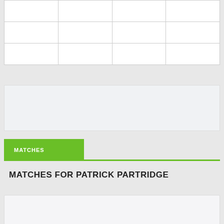|  |  |  |  |
|  |  |  |  |
|  |  |  |  |
[Figure (other): Gray advertisement or content placeholder box]
MATCHES
MATCHES FOR PATRICK PARTRIDGE
[Figure (other): Gray content card placeholder at bottom]